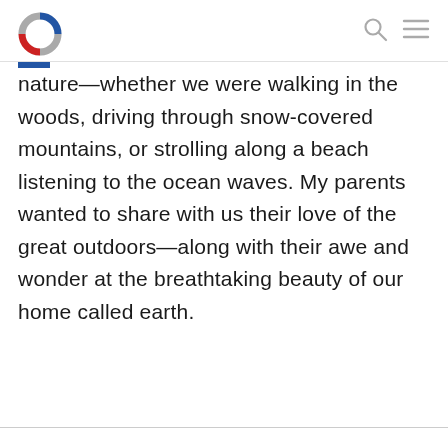[Logo] [Search icon] [Menu icon]
nature—whether we were walking in the woods, driving through snow-covered mountains, or strolling along a beach listening to the ocean waves. My parents wanted to share with us their love of the great outdoors—along with their awe and wonder at the breathtaking beauty of our home called earth.